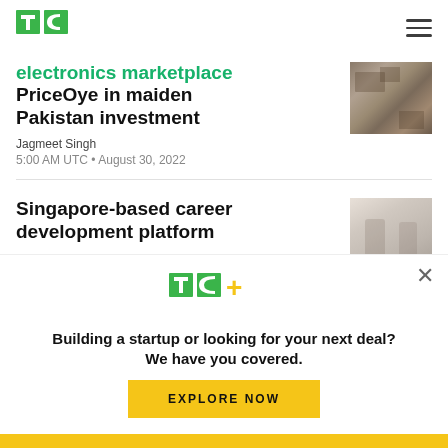TechCrunch logo and navigation
electronics marketplace PriceOye in maiden Pakistan investment
Jagmeet Singh
5:00 AM UTC • August 30, 2022
[Figure (photo): Aerial view of a city/market area]
Singapore-based career development platform
[Figure (photo): Two people shaking hands]
[Figure (infographic): TechCrunch+ subscription popup with headline: Building a startup or looking for your next deal? We have you covered. With EXPLORE NOW button.]